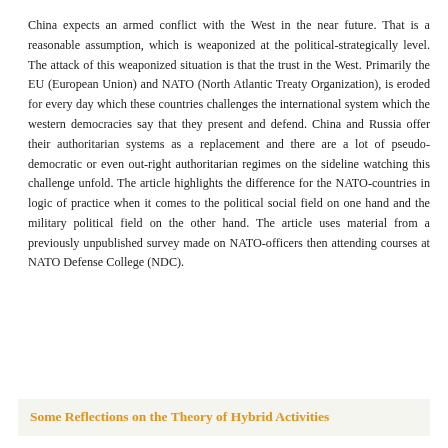China expects an armed conflict with the West in the near future. That is a reasonable assumption, which is weaponized at the political-strategically level. The attack of this weaponized situation is that the trust in the West. Primarily the EU (European Union) and NATO (North Atlantic Treaty Organization), is eroded for every day which these countries challenges the international system which the western democracies say that they present and defend. China and Russia offer their authoritarian systems as a replacement and there are a lot of pseudo-democratic or even out-right authoritarian regimes on the sideline watching this challenge unfold. The article highlights the difference for the NATO-countries in logic of practice when it comes to the political social field on one hand and the military political field on the other hand. The article uses material from a previously unpublished survey made on NATO-officers then attending courses at NATO Defense College (NDC).
Some Reflections on the Theory of Hybrid Activities